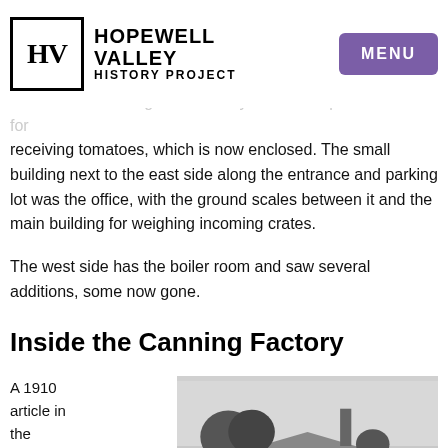Hopewell Valley History Project — MENU
canning. A single story rear annex also extends out the back.
The east side facing the driveway has a side platform used for receiving tomatoes, which is now enclosed. The small building next to the east side along the entrance and parking lot was the office, with the ground scales between it and the main building for weighing incoming crates.
The west side has the boiler room and saw several additions, some now gone.
Inside the Canning Factory
A 1910 article in the Trenton Evening Times
[Figure (photo): Black and white photograph of the exterior of the canning factory building, showing roofline, trees, chimney, and windows.]